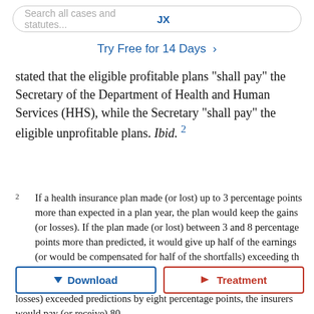Search all cases and statutes...   JX
Try Free for 14 Days >
stated that the eligible profitable plans “shall pay” the Secretary of the Department of Health and Human Services (HHS), while the Secretary “shall pay” the eligible unprofitable plans. Ibid. 2
2  If a health insurance plan made (or lost) up to 3 percentage points more than expected in a plan year, the plan would keep the gains (or losses). If the plan made (or lost) between 3 and 8 percentage points more than predicted, it would give up half of the earnings (or would be compensated for half of the shortfalls) exceeding th... hr... losses) exceeded predictions by eight percentage points, the insurers would pay (or receive) 80
Download   Treatment